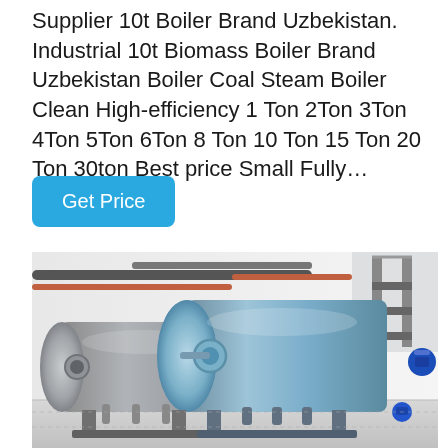Supplier 10t Boiler Brand Uzbekistan. Industrial 10t Biomass Boiler Brand Uzbekistan Boiler Coal Steam Boiler Clean High-efficiency 1 Ton 2Ton 3Ton 4Ton 5Ton 6Ton 8 Ton 10 Ton 15 Ton 20 Ton 30ton Best price Small Fully…
Get Price
[Figure (photo): Industrial boiler room with large horizontal cylindrical steam boilers in blue-grey color, pipes, valves and fittings visible, shot from a low angle in a white industrial interior.]